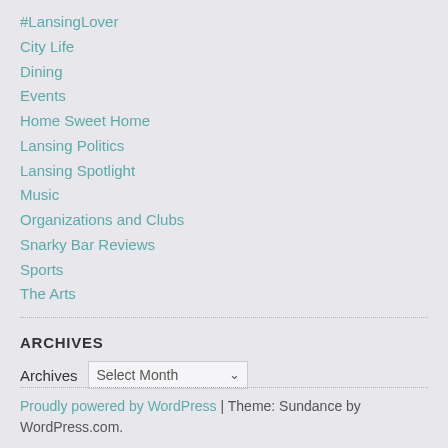#LansingLover
City Life
Dining
Events
Home Sweet Home
Lansing Politics
Lansing Spotlight
Music
Organizations and Clubs
Snarky Bar Reviews
Sports
The Arts
ARCHIVES
Archives  Select Month
Proudly powered by WordPress | Theme: Sundance by WordPress.com.